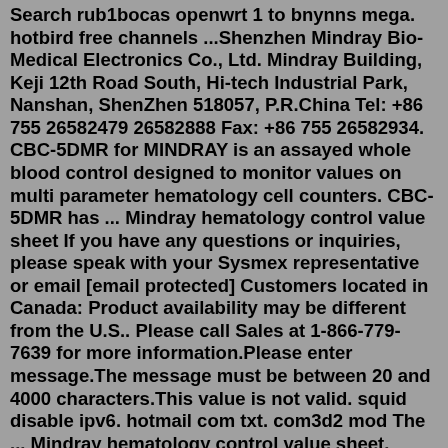Search rub1bocas openwrt 1 to bnynns mega. hotbird free channels ...Shenzhen Mindray Bio-Medical Electronics Co., Ltd. Mindray Building, Keji 12th Road South, Hi-tech Industrial Park, Nanshan, ShenZhen 518057, P.R.China Tel: +86 755 26582479 26582888 Fax: +86 755 26582934. CBC-5DMR for MINDRAY is an assayed whole blood control designed to monitor values on multi parameter hematology cell counters. CBC-5DMR has ... Mindray hematology control value sheet If you have any questions or inquiries, please speak with your Sysmex representative or email [email protected] Customers located in Canada: Product availability may be different from the U.S.. Please call Sales at 1-866-779-7639 for more information.Please enter message.The message must be between 20 and 4000 characters.This value is not valid. squid disable ipv6. hotmail com txt. com3d2 mod The ... Mindray hematology control value sheet. mcreator import animation; max retries exceeded with url; apie nursing uk;Liquichek Hematology Control (S) An